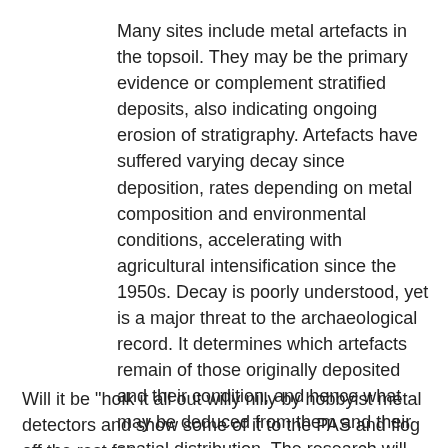Many sites include metal artefacts in the topsoil. They may be the primary evidence or complement stratified deposits, also indicating ongoing erosion of stratigraphy. Artefacts have suffered varying decay since deposition, rates depending on metal composition and environmental conditions, accelerating with agricultural intensification since the 1950s. Decay is poorly understood, yet is a major threat to the archaeological record. It determines which artefacts remain of those originally deposited and their condition, and hence what may be deduced from them and their spatial distribution. The research will involve the analysis of existing assemblages and the collection of new samples, through metal detecting survey on carefully selected sites, to assess the factors influencing decay, thus enabling appropriate conservation management action to be designed.
Will it be "hoik it all out willy nilly by hobbyist metal detectors and show some of it to the PAS and flog off the rest for scrap"? We await the outcome impatiently.